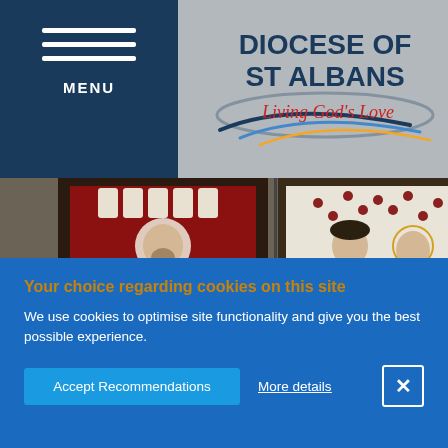[Figure (logo): Diocese of St Albans logo with text 'DIOCESE OF ST ALBANS' and italic subtitle 'Living God's Love' with a swoosh graphic]
[Figure (photo): Stained glass window panels showing religious figures: left panel has a bishop/Christ figure in red robes with crown, right panel has two saints on a white background with gold dots]
Your choice regarding cookies on this site
We use cookies to optimise site functionality and give you the best possible experience.
Accept Recommendations
More details